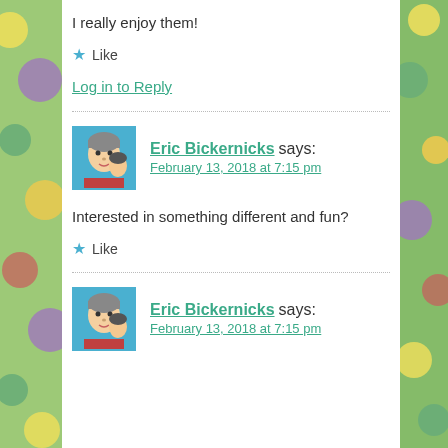I really enjoy them!
★ Like
Log in to Reply
Eric Bickernicks says:
February 13, 2018 at 7:15 pm
Interested in something different and fun?
★ Like
Eric Bickernicks says:
February 13, 2018 at 7:15 pm